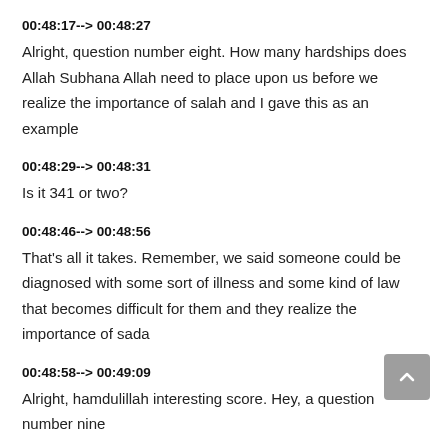00:48:17--> 00:48:27
Alright, question number eight. How many hardships does Allah Subhana Allah need to place upon us before we realize the importance of salah and I gave this as an example
00:48:29--> 00:48:31
Is it 341 or two?
00:48:46--> 00:48:56
That's all it takes. Remember, we said someone could be diagnosed with some sort of illness and some kind of law that becomes difficult for them and they realize the importance of sada
00:48:58--> 00:49:09
Alright, hamdulillah interesting score. Hey, a question number nine